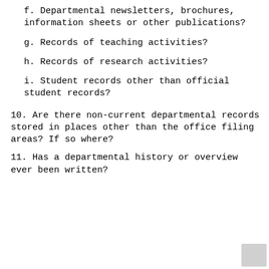f. Departmental newsletters, brochures, information sheets or other publications?
g. Records of teaching activities?
h. Records of research activities?
i. Student records other than official student records?
10. Are there non-current departmental records stored in places other than the office filing areas? If so where?
11. Has a departmental history or overview ever been written?